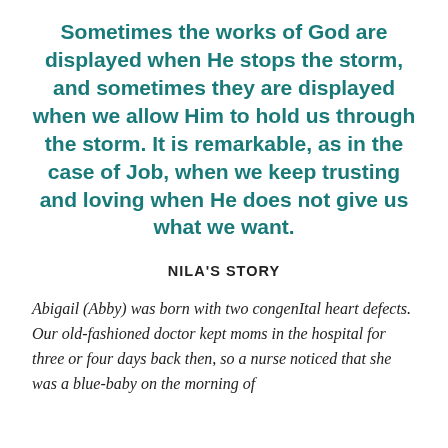Sometimes the works of God are displayed when He stops the storm, and sometimes they are displayed when we allow Him to hold us through the storm. It is remarkable, as in the case of Job, when we keep trusting and loving when He does not give us what we want.
NILA'S STORY
Abigail (Abby) was born with two congenItal heart defects. Our old-fashioned doctor kept moms in the hospital for three or four days back then, so a nurse noticed that she was a blue-baby on the morning of